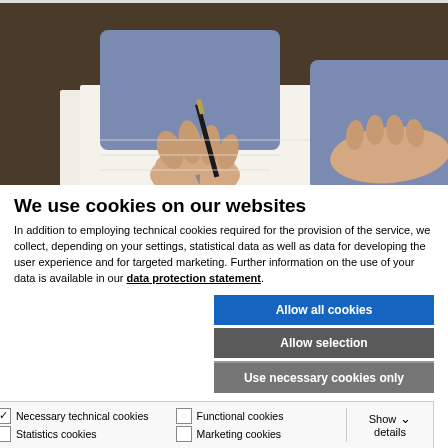[Figure (photo): Person writing on paper with a pen, hands visible, wearing a blue shirt, dark desk background.]
We use cookies on our websites
In addition to employing technical cookies required for the provision of the service, we collect, depending on your settings, statistical data as well as data for developing the user experience and for targeted marketing. Further information on the use of your data is available in our data protection statement.
Allow all cookies
Allow selection
Use necessary cookies only
Necessary technical cookies
Functional cookies
Statistics cookies
Marketing cookies
Show details